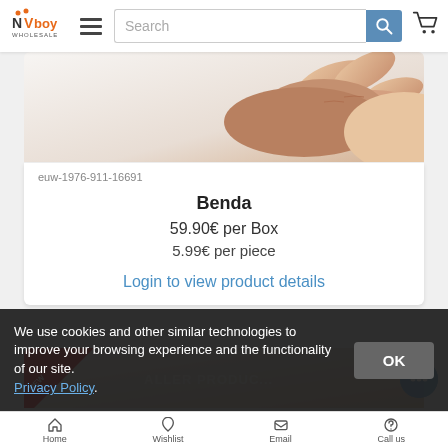NVboy WHOLESALE — Search bar with hamburger menu and cart icon
[Figure (photo): Close-up photo of a hand/fingers with skin-tone background, product image for bandage]
euw-1976-911-16691
Benda
59.90€ per Box
5.99€ per piece
Login to view product details
[Figure (photo): Partial view of next product card with red diagonal ribbon badge]
We use cookies and other similar technologies to improve your browsing experience and the functionality of our site. Privacy Policy.
Home   Wishlist   Email   Call us